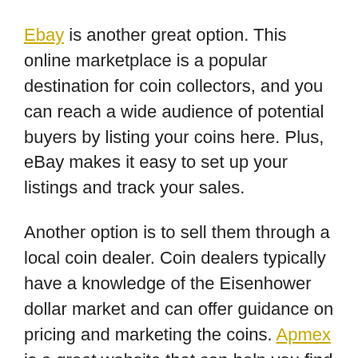Ebay is another great option. This online marketplace is a popular destination for coin collectors, and you can reach a wide audience of potential buyers by listing your coins here. Plus, eBay makes it easy to set up your listings and track your sales.
Another option is to sell them through a local coin dealer. Coin dealers typically have a knowledge of the Eisenhower dollar market and can offer guidance on pricing and marketing the coins. Apmex is a great website that can help you find coin dealers near you.